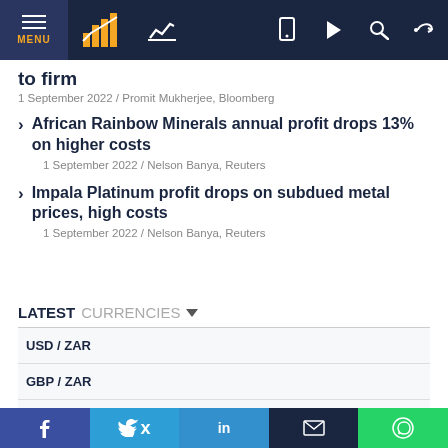MENU navigation bar with logo and icons
to firm
1 September 2022 / Promit Mukherjee, Bloomberg
African Rainbow Minerals annual profit drops 13% on higher costs
1 September 2022 / Nelson Banya, Reuters
Impala Platinum profit drops on subdued metal prices, high costs
1 September 2022 / Nelson Banya, Reuters
LATEST CURRENCIES
| Currency Pair |
| --- |
| USD / ZAR |
| GBP / ZAR |
| EUR / ZAR |
Social share bar: Facebook, Twitter, LinkedIn, Email, WhatsApp